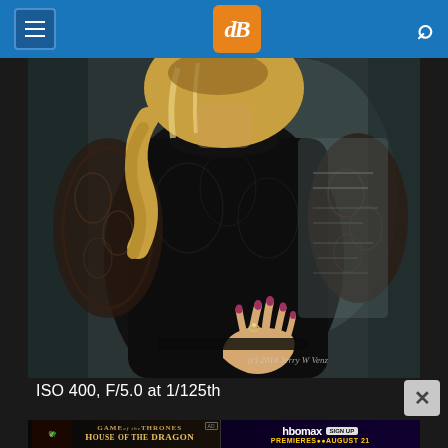dPS website header with hamburger menu, dPS logo, and search icon
[Figure (photo): Close-up photo of a woman in a black lace dress with her hand on her hip. She has blonde hair and pink/purple nail polish with a ring. Background is blurred. Watermark reads '(c) 2014 Jerry W Venz' in lower right.]
ISO 400, F/5.0 at 1/125th
[Figure (other): HBO Max advertisement banner for House of the Dragon - Game of Thrones. Left side shows the show title with dragon imagery. Right side shows HBO Max logo with SIGN UP button and text PREMIERES AUGUST 21.]